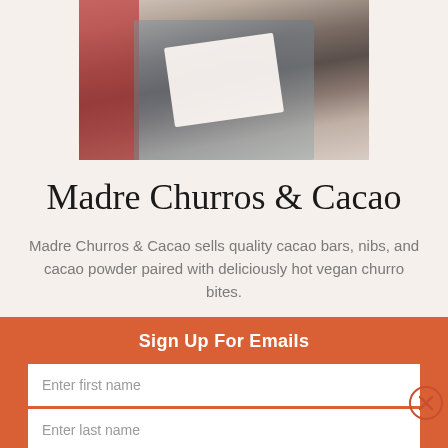[Figure (photo): Person in denim overalls holding a white paper bag with food item, partial body shot cropped at top]
Madre Churros & Cacao
Madre Churros & Cacao sells quality cacao bars, nibs, and cacao powder paired with deliciously hot vegan churro bites.
Sign Up For Emails
Enter first name
Enter last name
Enter your email
SUBSCRIBE